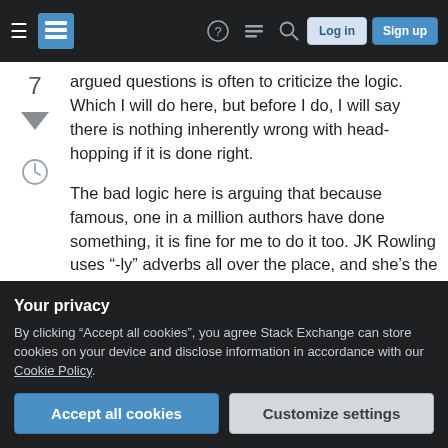Stack Exchange navigation bar with hamburger menu, logo, help, chat, search icons, Log in and Sign up buttons
argued questions is often to criticize the logic. Which I will do here, but before I do, I will say there is nothing inherently wrong with head-hopping if it is done right.
The bad logic here is arguing that because famous, one in a million authors have done something, it is fine for me to do it too. JK Rowling uses "-ly" adverbs all over the place, and she's the richest living author. Dan Brown's writing is heavily criticized, he's in the top 10. If you accept the logic that if something is in a million-seller book, it must
Your privacy
By clicking "Accept all cookies", you agree Stack Exchange can store cookies on your device and disclose information in accordance with our Cookie Policy.
99.99% of us, including me, are just not in their